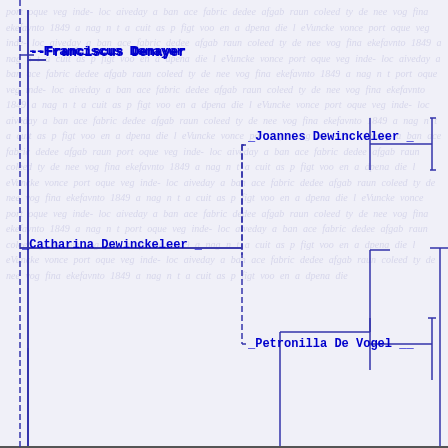[Figure (organizational-chart): Genealogy/family tree chart showing ancestors. Names connected by bracket lines: Franciscus Denayer connects to Joannes Dewinckeleer and Catharina Dewinckeleer; Catharina Dewinckeleer connects to Joannes Dewinckeleer and Petronilla De Vogel. Background shows faded handwritten script in blue ink.]
--Franciscus Denayer
_Joannes Dewinckeleer _
_Catharina Dewinckeleer _
_Petronilla De Vogel __